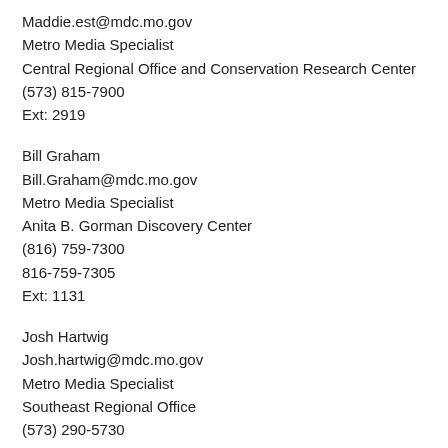Maddie.est@mdc.mo.gov
Metro Media Specialist
Central Regional Office and Conservation Research Center
(573) 815-7900
Ext: 2919
Bill Graham
Bill.Graham@mdc.mo.gov
Metro Media Specialist
Anita B. Gorman Discovery Center
(816) 759-7300
816-759-7305
Ext: 1131
Josh Hartwig
Josh.hartwig@mdc.mo.gov
Metro Media Specialist
Southeast Regional Office
(573) 290-5730
Ext: 4419
Joe Jerek